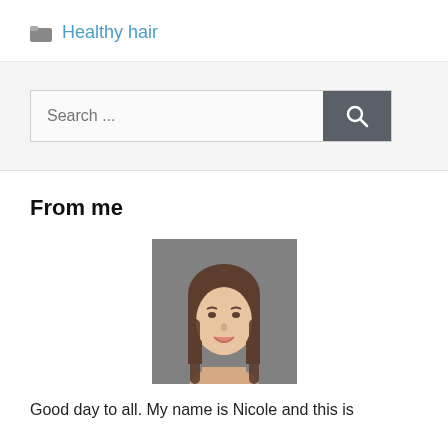Healthy hair
Search ...
From me
[Figure (photo): Headshot of a young woman with long brown hair, smiling, against a gray background]
Good day to all. My name is Nicole and this is